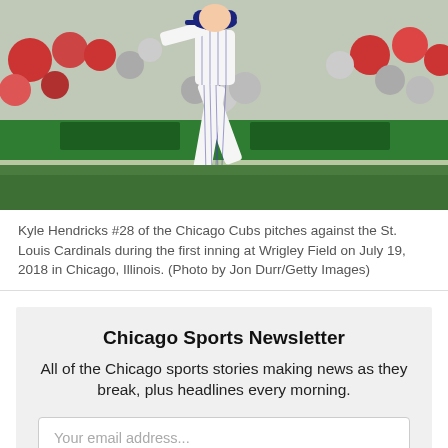[Figure (photo): Kyle Hendricks #28 of the Chicago Cubs pitching at Wrigley Field on July 19, 2018. Pitcher in white pinstripe uniform mid-delivery, stadium crowd visible in background with green outfield wall.]
Kyle Hendricks #28 of the Chicago Cubs pitches against the St. Louis Cardinals during the first inning at Wrigley Field on July 19, 2018 in Chicago, Illinois. (Photo by Jon Durr/Getty Images)
Chicago Sports Newsletter
All of the Chicago sports stories making news as they break, plus headlines every morning.